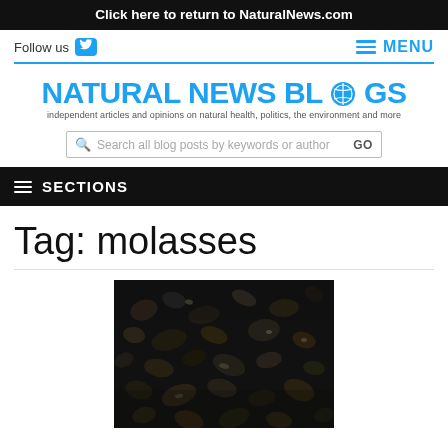Click here to return to NaturalNews.com
Follow us
MENU
[Figure (logo): Natural News Blogs logo with tagline: independent articles and opinions on natural health, politics, the environment and more]
Search all blog posts by keywords or author GO
SECTIONS
Tag: molasses
[Figure (photo): Close-up photograph of dark molasses seeds/granules, black and dark brown in color with some shiny surfaces]